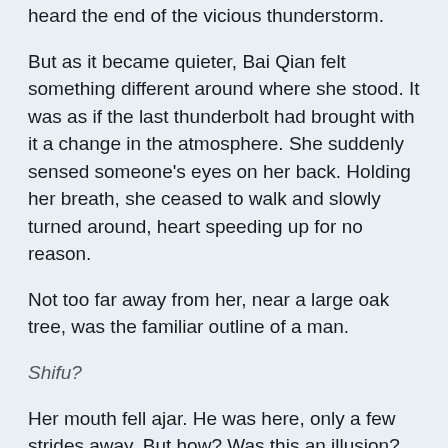head in Kunlun's cottage direction, hoping that she had heard the end of the vicious thunderstorm.
But as it became quieter, Bai Qian felt something different around where she stood. It was as if the last thunderbolt had brought with it a change in the atmosphere. She suddenly sensed someone's eyes on her back. Holding her breath, she ceased to walk and slowly turned around, heart speeding up for no reason.
Not too far away from her, near a large oak tree, was the familiar outline of a man.
Shifu?
Her mouth fell ajar. He was here, only a few strides away. But how? Was this an illusion? Had he really been looking for them? She had not caused any magic that could travel more than a mile from the mortal cottage in the past few days, how did he find them?